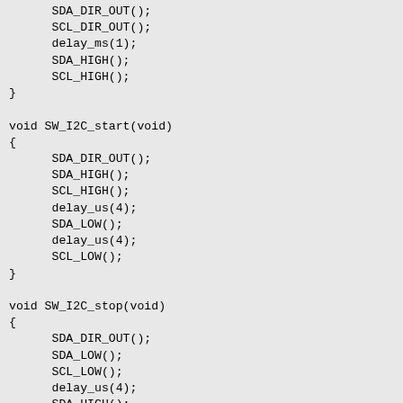SDA_DIR_OUT();
    SCL_DIR_OUT();
    delay_ms(1);
    SDA_HIGH();
    SCL_HIGH();
}

void SW_I2C_start(void)
{
    SDA_DIR_OUT();
    SDA_HIGH();
    SCL_HIGH();
    delay_us(4);
    SDA_LOW();
    delay_us(4);
    SCL_LOW();
}

void SW_I2C_stop(void)
{
    SDA_DIR_OUT();
    SDA_LOW();
    SCL_LOW();
    delay_us(4);
    SDA_HIGH();
    SCL_HIGH();
    delay_us(4);
}

unsigned char SW_I2C_read(unsigned char ack)
{
    unsigned char i = 8;
    unsigned char j = 0;